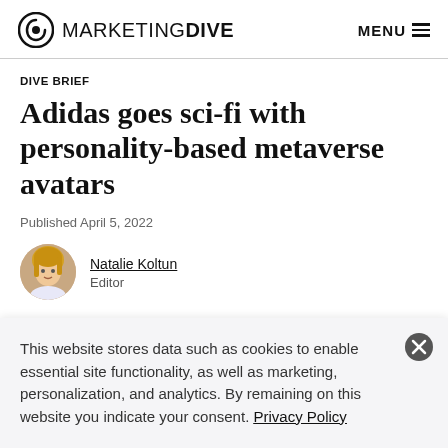MARKETING DIVE  MENU
DIVE BRIEF
Adidas goes sci-fi with personality-based metaverse avatars
Published April 5, 2022
Natalie Koltun
Editor
This website stores data such as cookies to enable essential site functionality, as well as marketing, personalization, and analytics. By remaining on this website you indicate your consent. Privacy Policy